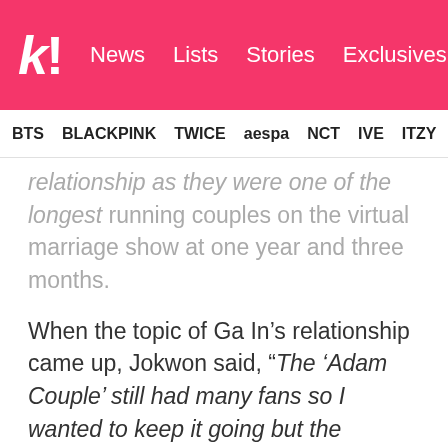k! News Lists Stories Exclusives
BTS BLACKPINK TWICE aespa NCT IVE ITZY
relationship as they were one of the longest running couples on the virtual marriage show at one year and three months.
When the topic of Ga In’s relationship came up, Jokwon said, “The ‘Adam Couple’ still had many fans so I wanted to keep it going but the journey we had was ended abruptly as Ga In got in a relationship. The ‘Adam couple’ is probably the longest lasting couple. It went for around 1 year and 3 months. At that point, even I was confused whether it was friendship or if I really liked her. When you are involved in a dating rumor while you’re a virtual couple, it has a huge